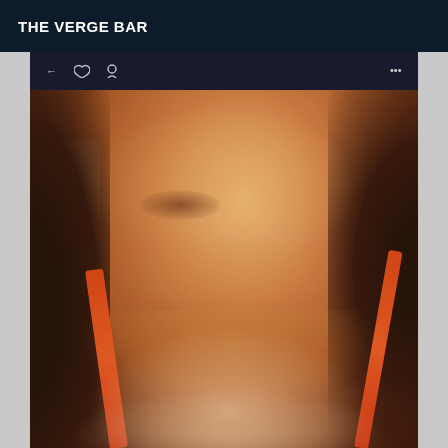THE VERGE BAR
[Figure (photo): Close-up portrait photo of a person with dark skin and long dark hair, wearing an orange halter top, taken from a slight downward angle. The image appears slightly blurred/soft focus. There is a dark toolbar strip visible at the top of the photo with social media-style icons.]